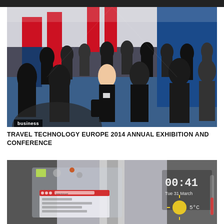[Figure (photo): Conference exhibition hall crowded with business professionals networking, with blue floor and banner displays in the background.]
TRAVEL TECHNOLOGY EUROPE 2014 ANNUAL EXHIBITION AND CONFERENCE
[Figure (photo): Person in suit with digital overlay showing clock reading 00:41, Tue 31 March, weather icon, and a web browser window, temperature 5°C.]